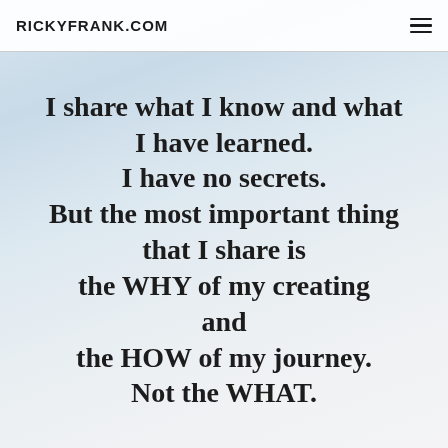RICKYFRANK.COM
I share what I know and what I have learned. I have no secrets. But the most important thing that I share is the WHY of my creating and the HOW of my journey. Not the WHAT.